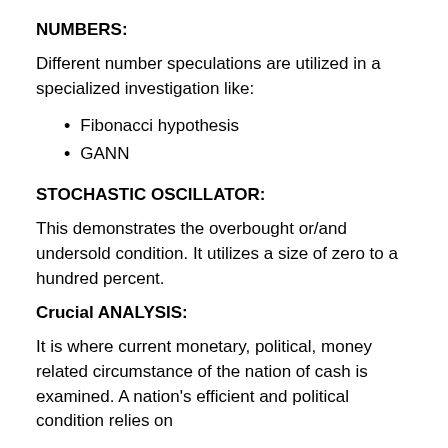NUMBERS:
Different number speculations are utilized in a specialized investigation like:
Fibonacci hypothesis
GANN
STOCHASTIC OSCILLATOR:
This demonstrates the overbought or/and undersold condition. It utilizes a size of zero to a hundred percent.
Crucial ANALYSIS:
It is where current monetary, political, money related circumstance of the nation of cash is examined. A nation's efficient and political condition relies on